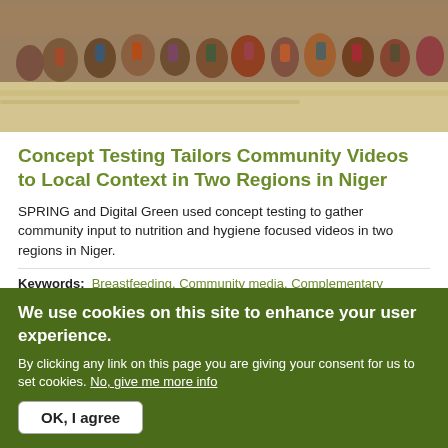[Figure (photo): A group of people sitting outdoors in a sandy/arid environment, seen from a distance. Community gathering scene.]
Concept Testing Tailors Community Videos to Local Context in Two Regions in Niger
SPRING and Digital Green used concept testing to gather community input to nutrition and hygiene focused videos in two regions in Niger.
Keywords: Breastfeeding, Community media, Complementary feeding...
We use cookies on this site to enhance your user experience.
By clicking any link on this page you are giving your consent for us to set cookies. No, give me more info
OK, I agree